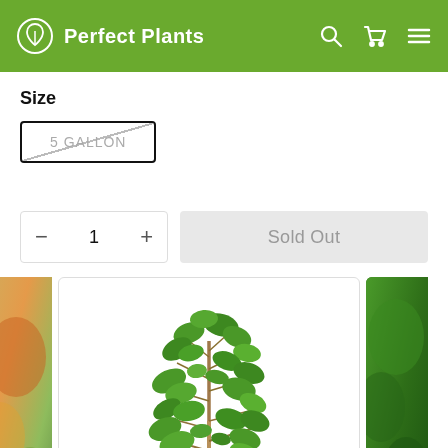Perfect Plants — navigation header with logo, search, cart, and menu icons
Size
5 GALLON (struck through / sold out option)
1 (quantity selector with − and + buttons)
Sold Out
[Figure (photo): Center image of a small green leafy tree/shrub plant on white background, flanked by partial thumbnail images on each side — left thumbnail shows autumn foliage (orange/green), right thumbnail shows close-up dark green leaves.]